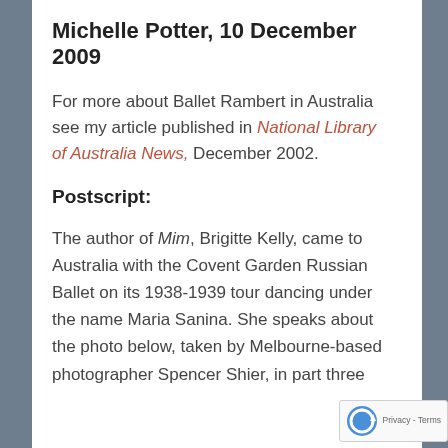Michelle Potter, 10 December 2009
For more about Ballet Rambert in Australia see my article published in National Library of Australia News, December 2002.
Postscript:
The author of Mim, Brigitte Kelly, came to Australia with the Covent Garden Russian Ballet on its 1938-1939 tour dancing under the name Maria Sanina. She speaks about the photo below, taken by Melbourne-based photographer Spencer Shier, in part three